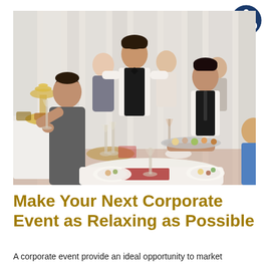[Figure (photo): A corporate catering event scene showing waitstaff in black vests serving champagne and food appetizers to elegantly dressed guests at round white-cloth-covered tables. A fountain and buffet setup are visible in the background.]
[Figure (logo): A circular dark blue logo with a white wheelchair accessibility symbol icon inside.]
Make Your Next Corporate Event as Relaxing as Possible
A corporate event provide an ideal opportunity to market